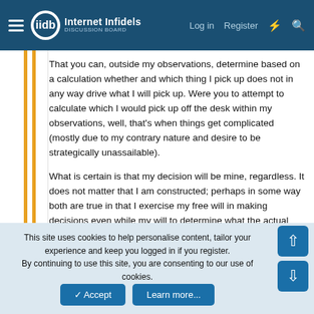Internet Infidels — Log in   Register
That you can, outside my observations, determine based on a calculation whether and which thing I pick up does not in any way drive what I will pick up. Were you to attempt to calculate which I would pick up off the desk within my observations, well, that's when things get complicated (mostly due to my contrary nature and desire to be strategically unassailable).
What is certain is that my decision will be mine, regardless. It does not matter that I am constructed; perhaps in some way both are true in that I exercise my free will in making decisions even while my will to determine what the actual process is, is in many ways constrained.
What is certain is that I CAN and DO discuss these things meaningfully. I cannot say the same for someone who thinks that they have no choice in the moment.
This site uses cookies to help personalise content, tailor your experience and keep you logged in if you register.
By continuing to use this site, you are consenting to our use of cookies.